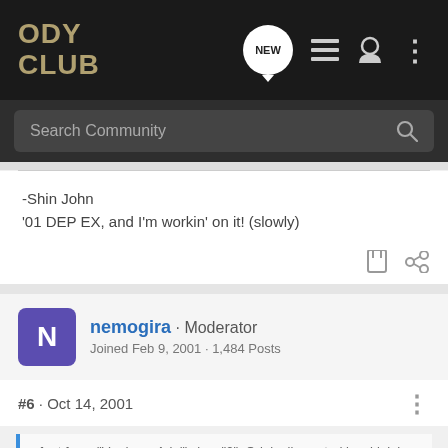ODY CLUB
-Shin John
'01 DEP EX, and I'm workin' on it! (slowly)
nemogira · Moderator
Joined Feb 9, 2001 · 1,484 Posts
#6 · Oct 14, 2001
<font face="Verdana, Arial" size="2">Originally posted by shinjohn:
Hey Nestor, glad you got this working! So do you only use this switcher on the front RCAs, feeding rear signal straight from the head to the amp? Any switching pops or noise whatsoever? Any